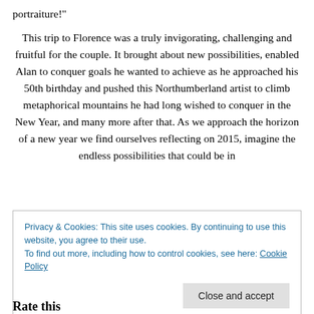portraiture!"
This trip to Florence was a truly invigorating, challenging and fruitful for the couple. It brought about new possibilities, enabled Alan to conquer goals he wanted to achieve as he approached his 50th birthday and pushed this Northumberland artist to climb metaphorical mountains he had long wished to conquer in the New Year, and many more after that. As we approach the horizon of a new year we find ourselves reflecting on 2015, imagine the endless possibilities that could be in
Privacy & Cookies: This site uses cookies. By continuing to use this website, you agree to their use.
To find out more, including how to control cookies, see here: Cookie Policy
Close and accept
Rate this